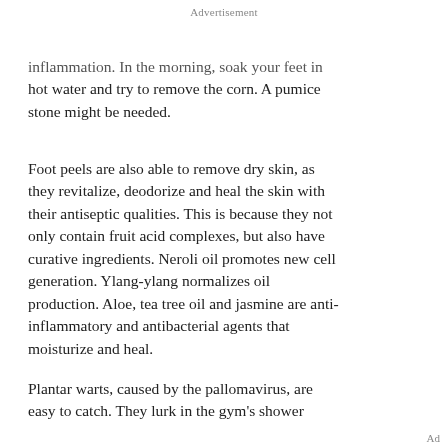Advertisement
inflammation. In the morning, soak your feet in hot water and try to remove the corn. A pumice stone might be needed.
Foot peels are also able to remove dry skin, as they revitalize, deodorize and heal the skin with their antiseptic qualities. This is because they not only contain fruit acid complexes, but also have curative ingredients. Neroli oil promotes new cell generation. Ylang-ylang normalizes oil production. Aloe, tea tree oil and jasmine are anti-inflammatory and antibacterial agents that moisturize and heal.
Plantar warts, caused by the pallomavirus, are easy to catch. They lurk in the gym's shower
Ad